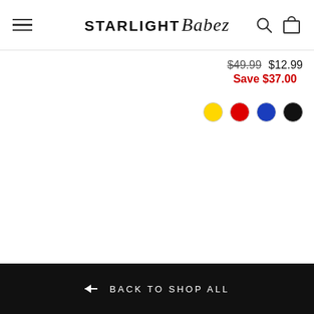STARLIGHT Babez — navigation header with hamburger menu, logo, search and cart icons
$49.99  $12.99
Save $37.00
[Figure (other): Four color swatches: yellow, red, blue, black circles]
← BACK TO SHOP ALL